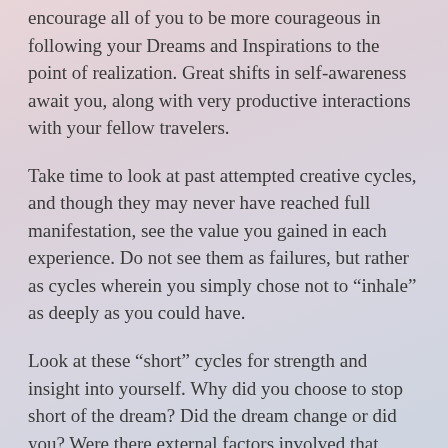encourage all of you to be more courageous in following your Dreams and Inspirations to the point of realization. Great shifts in self-awareness await you, along with very productive interactions with your fellow travelers.
Take time to look at past attempted creative cycles, and though they may never have reached full manifestation, see the value you gained in each experience. Do not see them as failures, but rather as cycles wherein you simply chose not to “inhale” as deeply as you could have.
Look at these “short” cycles for strength and insight into yourself. Why did you choose to stop short of the dream? Did the dream change or did you? Were there external factors involved that persuaded you to abandon your dream? Was it truly your dream or someone else’s? What did you learn about yourself along the way? Do you lack self-confidence in an aspect